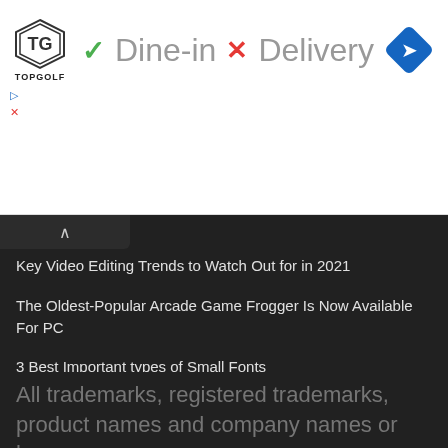[Figure (screenshot): Topgolf advertisement banner showing logo, dine-in checkmark, delivery X mark, and navigation diamond icon]
Key Video Editing Trends to Watch Out for in 2021
The Oldest-Popular Arcade Game Frogger Is Now Available For PC
3 Best Important types of Small Fonts
RSS
How to Increase the Speed of your Windows 10?
All trademarks, registered trademarks, product names and company names or logos